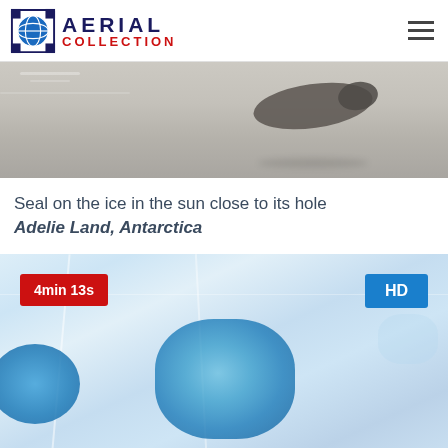AERIAL COLLECTION
[Figure (photo): Aerial photograph of a seal resting on snow/ice, viewed from above. The seal appears as a dark elongated shape against the light gray textured snow surface.]
Seal on the ice in the sun close to its hole
Adelie Land, Antarctica
[Figure (photo): Aerial photograph of ice and snow in Antarctica showing blue meltwater pools or crevasses in the ice. Two prominent blue pools are visible - one on the left edge and a larger one in the center. Overlaid badges show '4min 13s' in red on the left and 'HD' in blue on the right.]